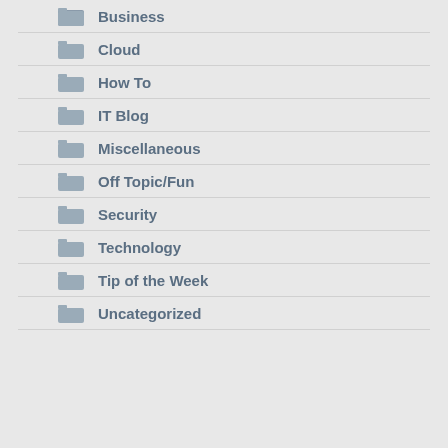Business
Cloud
How To
IT Blog
Miscellaneous
Off Topic/Fun
Security
Technology
Tip of the Week
Uncategorized